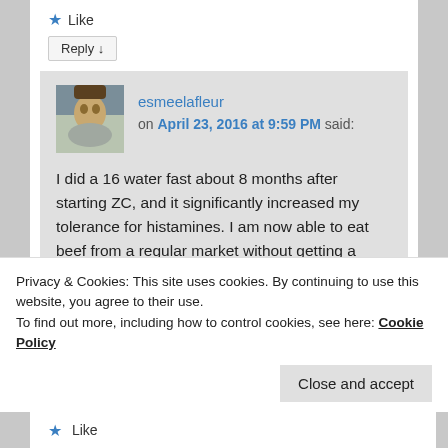★ Like
Reply ↓
esmeelafleur on April 23, 2016 at 9:59 PM said:
I did a 16 water fast about 8 months after starting ZC, and it significantly increased my tolerance for histamines. I am now able to eat beef from a regular market without getting a migraine. The GERD mayor may not be related to histamines. Many people
Privacy & Cookies: This site uses cookies. By continuing to use this website, you agree to their use.
To find out more, including how to control cookies, see here: Cookie Policy
Close and accept
★ Like